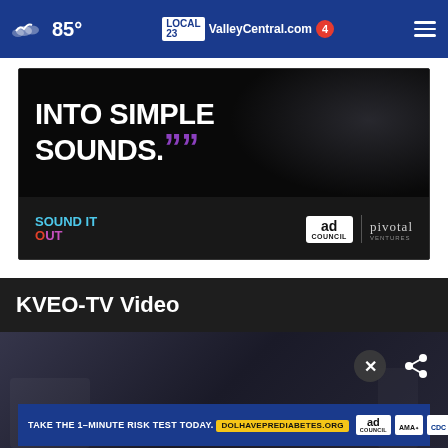85° | ValleyCentral.com | Local 23 | Ch4
[Figure (screenshot): Advertisement banner: 'Into Simple Sounds' with purple quotation marks, Sound It Out campaign, Ad Council and Pivotal Ventures logos on dark background]
KVEO-TV Video
[Figure (screenshot): Video player area with dark background, close (X) button and share button overlay]
[Figure (screenshot): Prediabetes advertisement bar: 'TAKE THE 1-MINUTE RISK TEST TODAY.' with DolHavePrediabetes.org URL, Ad Council, AMA, and CDC logos]